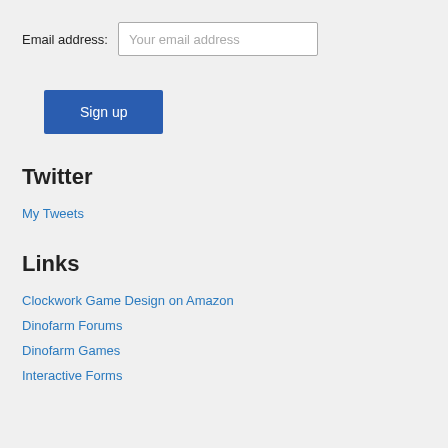Email address: Your email address
Sign up
Twitter
My Tweets
Links
Clockwork Game Design on Amazon
Dinofarm Forums
Dinofarm Games
Interactive Forms